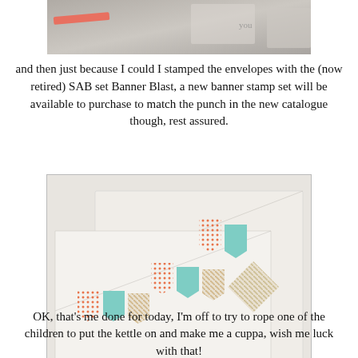[Figure (photo): Top partial photo showing stamped cards/envelopes with handwriting, partially cropped]
and then just because I could I stamped the envelopes with the (now retired) SAB set Banner Blast, a new banner stamp set will be available to purchase to match the punch in the new catalogue though, rest assured.
[Figure (photo): Photo of two white envelopes with colorful banner/bunting stamp designs in orange, mint/teal, and gold/tan stripe patterns]
OK, that's me done for today, I'm off to try to rope one of the children to put the kettle on and make me a cuppa, wish me luck with that!
DON'T FORGET TO CHECK OUT THE RETIREMENT LIST